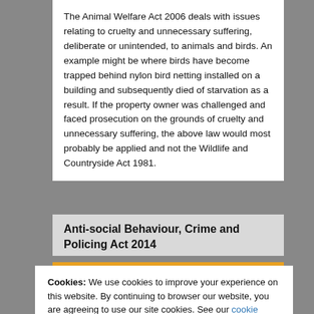The Animal Welfare Act 2006 deals with issues relating to cruelty and unnecessary suffering, deliberate or unintended, to animals and birds. An example might be where birds have become trapped behind nylon bird netting installed on a building and subsequently died of starvation as a result. If the property owner was challenged and faced prosecution on the grounds of cruelty and unnecessary suffering, the above law would most probably be applied and not the Wildlife and Countryside Act 1981.
Anti-social Behaviour, Crime and Policing Act 2014
Cookies: We use cookies to improve your experience on this website. By continuing to browser our website, you are agreeing to use our site cookies. See our cookie policy for more information on cookies and how to manage them.